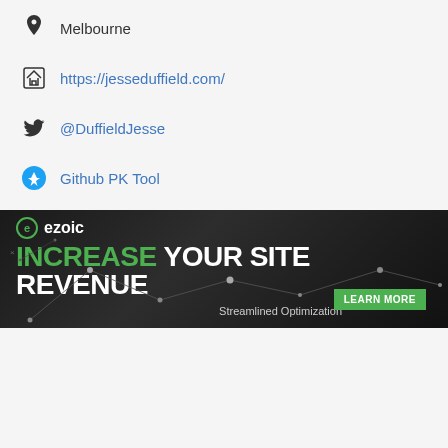Melbourne
https://jesseduffield.com/
@DuffieldJesse
Github PK Tool
[Figure (infographic): Ezoic advertisement banner: dark background with green and white text reading 'INCREASE YOUR SITE REVENUE', subtitle 'Streamlined Optimization', and a green 'LEARN MORE' button.]